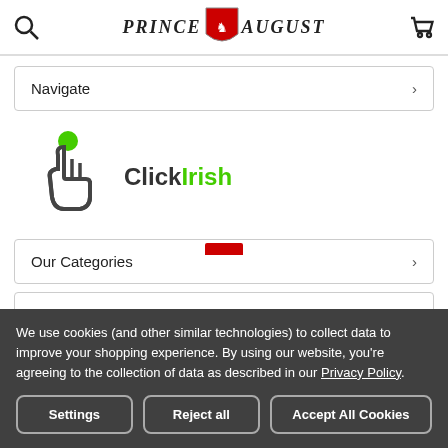Prince August
Navigate
[Figure (logo): ClickIrish logo — a hand pointer icon with green dot and the text 'Click' in dark gray and 'Irish' in green]
Our Categories
Legal Links
We use cookies (and other similar technologies) to collect data to improve your shopping experience. By using our website, you're agreeing to the collection of data as described in our Privacy Policy.